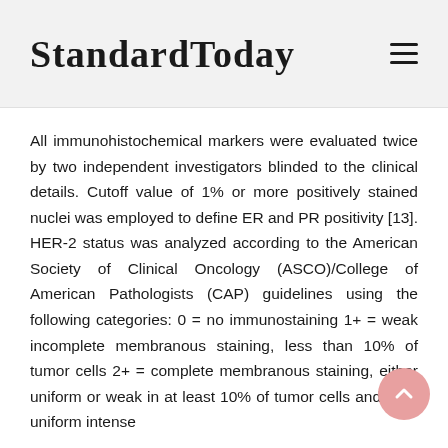StandardToday
All immunohistochemical markers were evaluated twice by two independent investigators blinded to the clinical details. Cutoff value of 1% or more positively stained nuclei was employed to define ER and PR positivity [13]. HER-2 status was analyzed according to the American Society of Clinical Oncology (ASCO)/College of American Pathologists (CAP) guidelines using the following categories: 0 = no immunostaining 1+ = weak incomplete membranous staining, less than 10% of tumor cells 2+ = complete membranous staining, either uniform or weak in at least 10% of tumor cells and 3+ = uniform intense